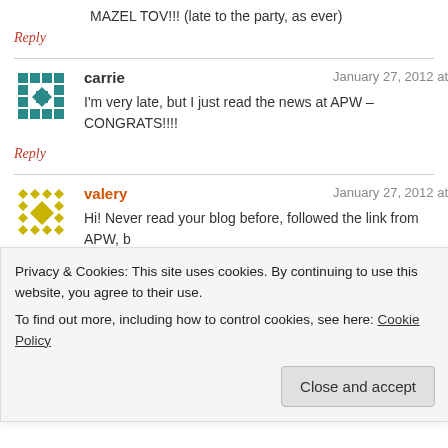MAZEL TOV!!! (late to the party, as ever)
Reply
[Figure (illustration): Teal geometric pattern avatar for commenter carrie]
carrie
January 27, 2012 at
I'm very late, but I just read the news at APW – CONGRATS!!!!
Reply
[Figure (illustration): Yellow/gold geometric pattern avatar for commenter valery]
valery
January 27, 2012 at
Hi! Never read your blog before, followed the link from APW, b
this post and your ground rules. I'm due July 21st! And completely feel yo
Privacy & Cookies: This site uses cookies. By continuing to use this website, you agree to their use.
To find out more, including how to control cookies, see here: Cookie Policy
Close and accept